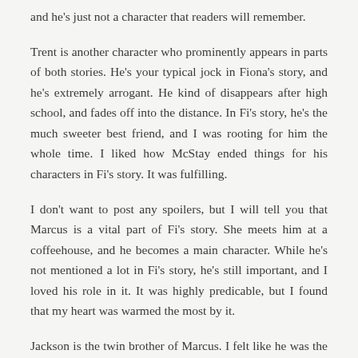and he's just not a character that readers will remember.
Trent is another character who prominently appears in parts of both stories. He's your typical jock in Fiona's story, and he's extremely arrogant. He kind of disappears after high school, and fades off into the distance. In Fi's story, he's the much sweeter best friend, and I was rooting for him the whole time. I liked how McStay ended things for his characters in Fi's story. It was fulfilling.
I don't want to post any spoilers, but I will tell you that Marcus is a vital part of Fi's story. She meets him at a coffeehouse, and he becomes a main character. While he's not mentioned a lot in Fi's story, he's still important, and I loved his role in it. It was highly predicable, but I found that my heart was warmed the most by it.
Jackson is the twin brother of Marcus. I felt like he was the glue of the novel because he plays